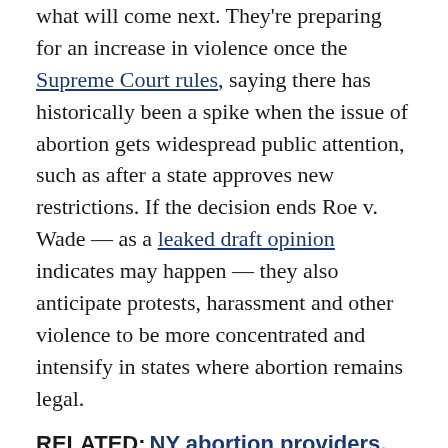what will come next. They're preparing for an increase in violence once the Supreme Court rules, saying there has historically been a spike when the issue of abortion gets widespread public attention, such as after a state approves new restrictions. If the decision ends Roe v. Wade — as a leaked draft opinion indicates may happen — they also anticipate protests, harassment and other violence to be more concentrated and intensify in states where abortion remains legal.
RELATED: NY abortion providers, lawmakers prepare for out-of-state patients
"We know from experience, it's not like the people protesting clinics in banned states just pack up and go home," said Melissa Fowler, chief program officer for the National Abortion Federation.